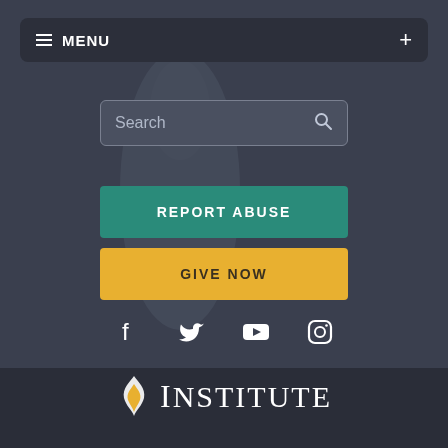[Figure (screenshot): Website mobile menu navigation bar with hamburger icon, MENU text, and plus (+) button on dark background]
[Figure (screenshot): Search input box with placeholder text 'Search' and magnifying glass icon]
REPORT ABUSE
GIVE NOW
[Figure (other): Social media icons: Facebook, Twitter, YouTube, Instagram]
INSTITUTE